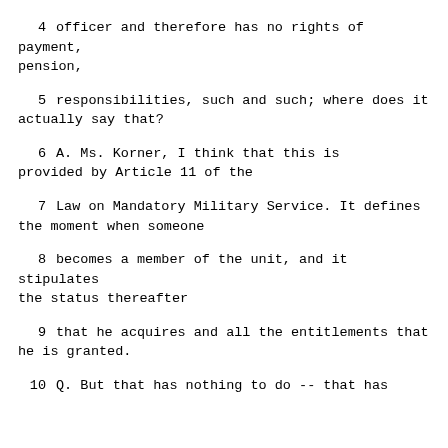4    officer and therefore has no rights of payment, pension,
5    responsibilities, such and such; where does it actually say that?
6    A.   Ms. Korner, I think that this is provided by Article 11 of the
7    Law on Mandatory Military Service.  It defines the moment when someone
8    becomes a member of the unit, and it stipulates the status thereafter
9    that he acquires and all the entitlements that he is granted.
10   Q.   But that has nothing to do -- that has